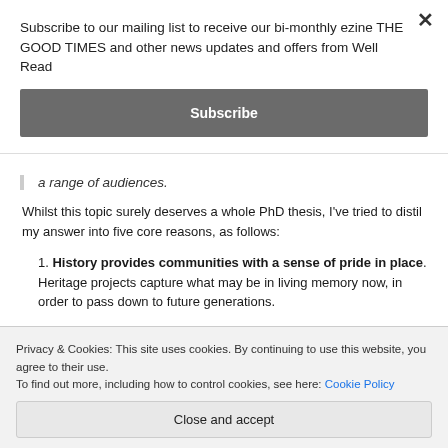Subscribe to our mailing list to receive our bi-monthly ezine THE GOOD TIMES and other news updates and offers from Well Read
Subscribe
a range of audiences.
Whilst this topic surely deserves a whole PhD thesis, I've tried to distil my answer into five core reasons, as follows:
History provides communities with a sense of pride in place. Heritage projects capture what may be in living memory now, in order to pass down to future generations.
Privacy & Cookies: This site uses cookies. By continuing to use this website, you agree to their use.
To find out more, including how to control cookies, see here: Cookie Policy
Close and accept
example of this was my work with primary school pupils in